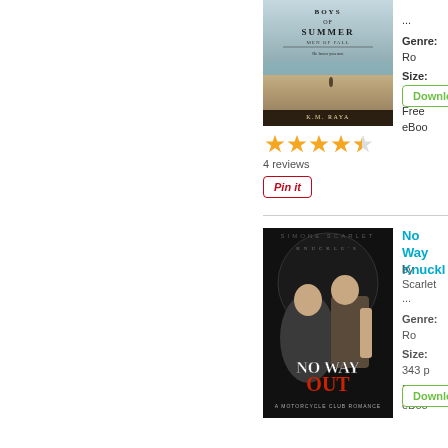[Figure (photo): Book cover for 'Boys of Summer: Men of Fall' by K.M. Raya, showing a beach scene with ocean, sandy shore, and a small figure, with the title text overlaid]
[Figure (other): Star rating: 4.5 out of 5 stars, 4 reviews]
4 reviews
[Figure (other): Pin it button]
Genre: Ro
Size: Unkn
Free eBoo
[Figure (other): Download button (partially visible)]
[Figure (photo): Book cover for 'No Way Out: Knuckle...' by Simone Scarlet - motorcycle club romance showing a man and woman]
No Way... Knuckl...
by Scarlet...
...
Genre: Ro
Size: 343 p
Free eBoo
[Figure (other): Download button (partially visible)]